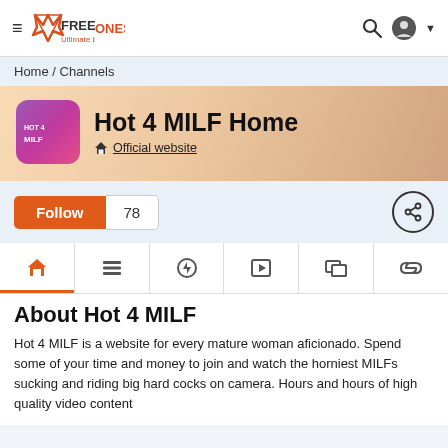≡ FREEONES Ultimate babe site since 1998!
Home / Channels
[Figure (logo): Hot 4 MILF channel banner with purple/pink gradient logo icon and title 'Hot 4 MILF Home' with Official website link, overlaid on a soft skin-tone background]
Follow 78
[Figure (infographic): Navigation tab bar with 6 icons: home (active, orange), list/menu, lightning/power, play, image gallery, link]
About Hot 4 MILF
Hot 4 MILF is a website for every mature woman aficionado. Spend some of your time and money to join and watch the horniest MILFs sucking and riding big hard cocks on camera. Hours and hours of high quality video content